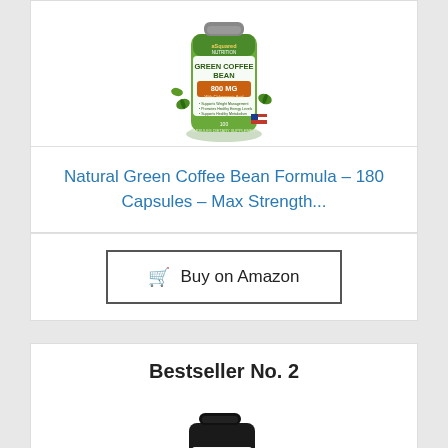[Figure (photo): Green Coffee Bean supplement bottle - aSquared Nutrition brand, 800mg, 100 capsules, with green coffee beans around it]
Natural Green Coffee Bean Formula – 180 Capsules – Max Strength...
Buy on Amazon
Bestseller No. 2
[Figure (photo): Natures Craft Green Coffee Bean Extract dietary supplement bottle, black bottle with white label]